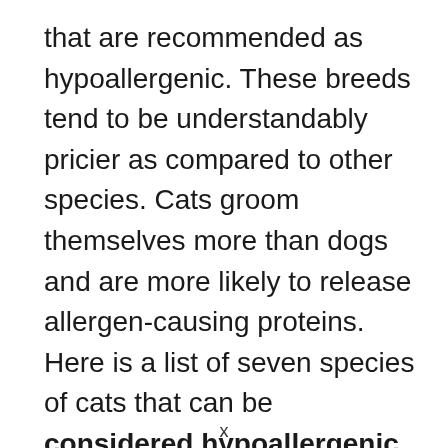that are recommended as hypoallergenic. These breeds tend to be understandably pricier as compared to other species. Cats groom themselves more than dogs and are more likely to release allergen-causing proteins. Here is a list of seven species of cats that can be considered hypoallergenic.
x